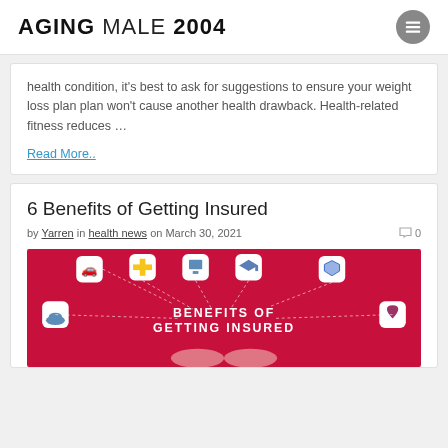AGING MALE 2004
health condition, it's best to ask for suggestions to ensure your weight loss plan plan won't cause another health drawback. Health-related fitness reduces …
Read More..
6 Benefits of Getting Insured
by Yarren in health news on March 30, 2021   0
[Figure (infographic): Red infographic showing 'BENEFITS OF GETTING INSURED' with icons for various insurance types (health, vehicle, education, shield) connected by dotted lines to hands below]